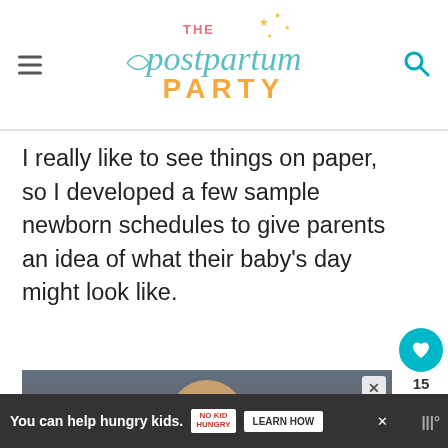THE postpartum PARTY
I really like to see things on paper, so I developed a few sample newborn schedules to give parents an idea of what their baby's day might look like.
[Figure (photo): Ad image of a young child with hand near mouth, overlay text 'You can help']
[Figure (infographic): Bottom ad bar: 'You can help hungry kids. NO KID HUNGRY. LEARN HOW']